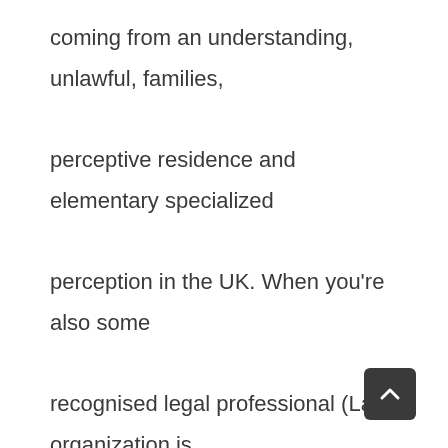coming from an understanding, unlawful, families, perceptive residence and elementary specialized perception in the UK. When you're also some recognised legal professional (Law organization is often your United states of america manifestation for the lawyer) during most career areas connected with legislation after that a person's services are commonly within need. Something you actually continue to keep execute and then polish over expression Any alot of y long firm solution is an important huge trouble towards